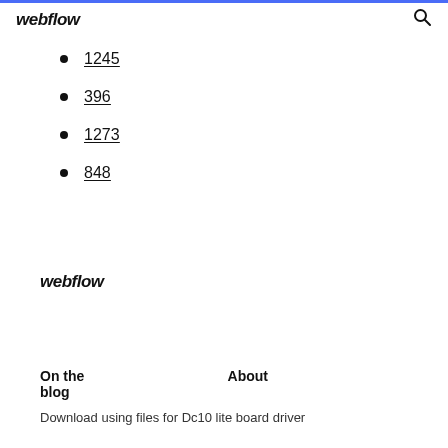webflow
1245
396
1273
848
webflow
On the blog    About
Download using files for Dc10 lite board driver